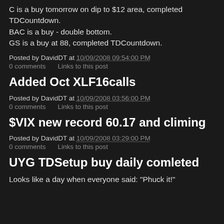C is a buy tomorrow on dip to $12 area, completed TDCountdown.
BAC is a buy - double bottom.
GS is a buy at 88, completed TDCountdown.
Posted by DavidDT at 10/09/2008 09:54:00 PM
0 comments    Links to this post
Added Oct XLF16calls
Posted by DavidDT at 10/09/2008 03:56:00 PM
0 comments    Links to this post
$VIX new record 60.17 and climing
Posted by DavidDT at 10/09/2008 03:29:00 PM
0 comments    Links to this post
UYG TDSetup buy daily comleted
Looks like a day when everyone said: "Phuck it!"